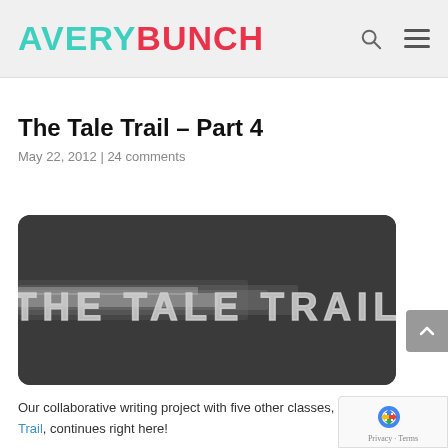AVERYBUNCH
The Tale Trail – Part 4
May 22, 2012 | 24 comments
[Figure (photo): Dark banner image with 'THE TALE TRAIL' text in large chrome/metallic letters on a dark background with motion blur/speed lines effect]
Our collaborative writing project with five other classes, The Tale Trail, continues right here!